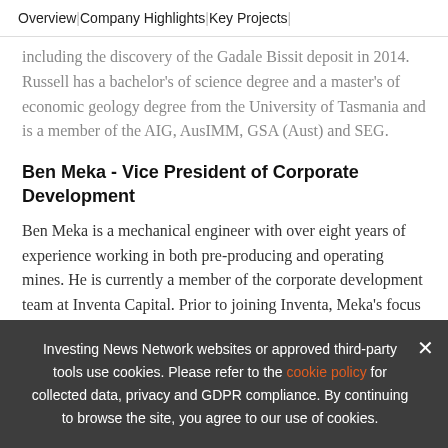Overview | Company Highlights | Key Projects |
including the discovery of the Gadale Bissit deposit in 2014. Russell has a bachelor's of science degree and a master's of economic geology degree from the University of Tasmania and is a member of the AIG, AusIMM, GSA (Aust) and SEG.
Ben Meka - Vice President of Corporate Development
Ben Meka is a mechanical engineer with over eight years of experience working in both pre-producing and operating mines. He is currently a member of the corporate development team at Inventa Capital. Prior to joining Inventa, Meka's focus was on the design and execution of fixed priced projects across North America and Australia. During his tenure with Ausenco Engineering, he was on secondment to Resource Capital
Investing News Network websites or approved third-party tools use cookies. Please refer to the cookie policy for collected data, privacy and GDPR compliance. By continuing to browse the site, you agree to our use of cookies.